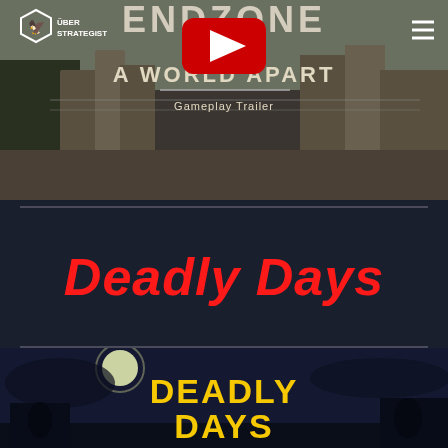[Figure (screenshot): Endzone A World Apart gameplay trailer thumbnail with Über Strategist logo overlay, YouTube play button, and hamburger menu icon]
Deadly Days
[Figure (screenshot): Deadly Days game artwork showing yellow text logo on dark illustrated background]